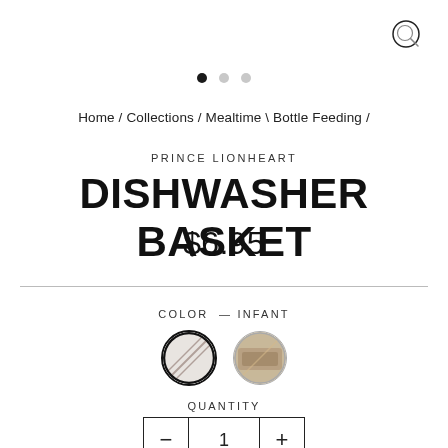[Figure (other): Search magnifying glass icon in top right corner]
[Figure (other): Carousel navigation dots: one filled (active), two empty]
Home / Collections / Mealtime \ Bottle Feeding /
PRINCE LIONHEART
DISHWASHER BASKET
$6.95
COLOR — INFANT
[Figure (other): Two circular color swatches for product color selection; first swatch has thick black border (selected), second has thin gray border (unselected). Both show product thumbnail images inside.]
QUANTITY
- 1 +